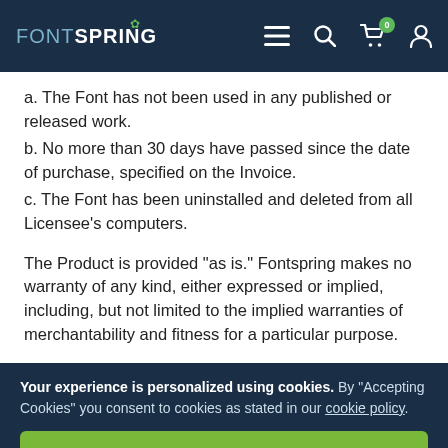FONTSPRING — navigation header with menu, search, cart (0), and user icons
a. The Font has not been used in any published or released work.
b. No more than 30 days have passed since the date of purchase, specified on the Invoice.
c. The Font has been uninstalled and deleted from all Licensee’s computers.
The Product is provided “as is.” Fontspring makes no warranty of any kind, either expressed or implied, including, but not limited to the implied warranties of merchantability and fitness for a particular purpose.
Your experience is personalized using cookies. By “Accepting Cookies” you consent to cookies as stated in our cookie policy.
Accept Cookies